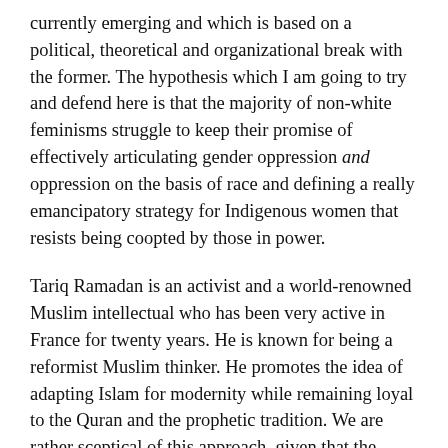currently emerging and which is based on a political, theoretical and organizational break with the former. The hypothesis which I am going to try and defend here is that the majority of non-white feminisms struggle to keep their promise of effectively articulating gender oppression and oppression on the basis of race and defining a really emancipatory strategy for Indigenous women that resists being coopted by those in power.
Tariq Ramadan is an activist and a world-renowned Muslim intellectual who has been very active in France for twenty years. He is known for being a reformist Muslim thinker. He promotes the idea of adapting Islam for modernity while remaining loyal to the Quran and the prophetic tradition. We are rather sceptical of this approach, given that the decolonial project rejects the paradigm of modernity. Nonetheless, we should recognise the fact that he has been successful – while the French integrationist model is in crisis – in promoting the idea of a citizen Islam whose followers do not have to choose